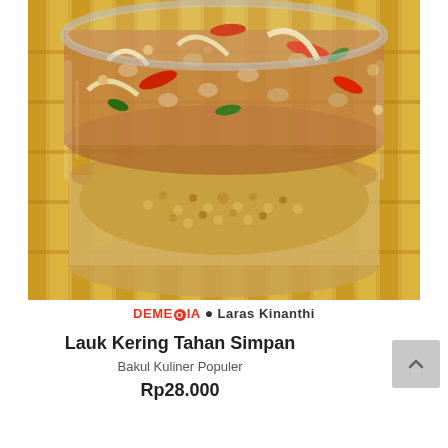[Figure (photo): A glass jar filled with Indonesian dry side dish (lauk kering) containing stir-fried ingredients including red chilies, onions, peanuts, and small dried shrimp, placed on a bamboo mat background. The jar shows two visible layers of the food.]
DEMEDIA • Laras Kinanthi
Lauk Kering Tahan Simpan
Bakul Kuliner Populer
Rp28.000